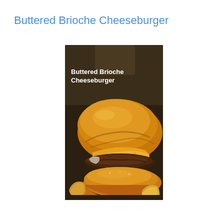Buttered Brioche Cheeseburger
[Figure (photo): Close-up photograph of a Buttered Brioche Cheeseburger with melted cheese, toasted brioche bun, beef patty, and sides. White bold text overlay reads 'Buttered Brioche Cheeseburger' in the upper-left of the photo.]